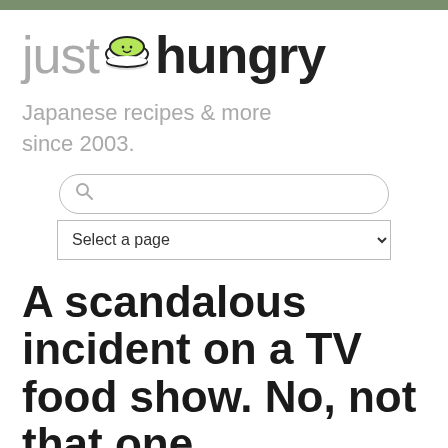just hungry
Japanese recipes & more since 2003.
[Figure (screenshot): Search bar with magnifying glass icon and rounded border]
[Figure (screenshot): Dropdown select control labeled 'Select a page']
A scandalous incident on a TV food show. No, not that one